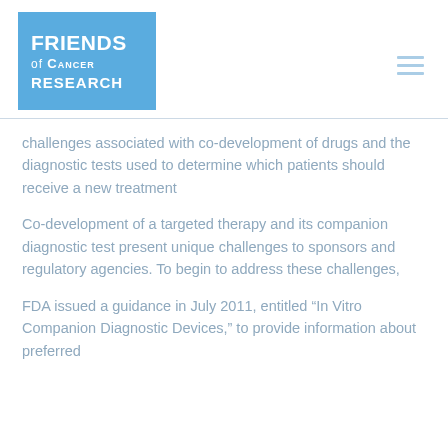[Figure (logo): Friends of Cancer Research logo — blue square with white text]
challenges associated with co-development of drugs and the diagnostic tests used to determine which patients should receive a new treatment
Co-development of a targeted therapy and its companion diagnostic test present unique challenges to sponsors and regulatory agencies. To begin to address these challenges,
FDA issued a guidance in July 2011, entitled “In Vitro Companion Diagnostic Devices,” to provide information about preferred